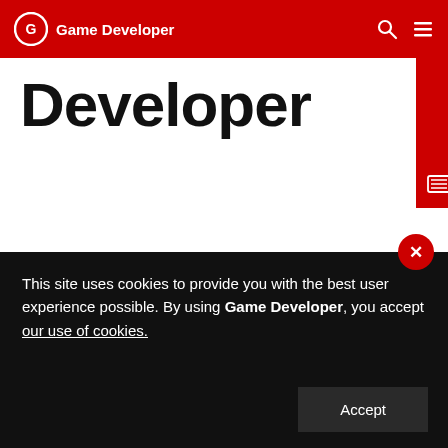Game Developer
[Figure (logo): Game Developer site hero banner showing large bold text 'Developer' with red corner bracket decoration and newspaper icon]
Gameloft shutters another studio, this time in Seattle
Gamasutra has heard from multiple sources that Gameloft has shut down yet another game development studio, this time in Seattle, and laid off staff less than a
This site uses cookies to provide you with the best user experience possible. By using Game Developer, you accept our use of cookies.